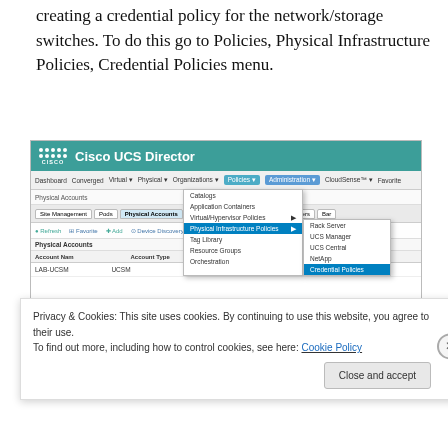creating a credential policy for the network/storage switches. To do this go to Policies, Physical Infrastructure Policies, Credential Policies menu.
[Figure (screenshot): Cisco UCS Director interface screenshot showing navigation to Policies > Physical Infrastructure Policies > Credential Policies menu. Shows Physical Accounts page with LAB-UCSM entry and dropdown menus open.]
In my case I created a new user in each element named
Privacy & Cookies: This site uses cookies. By continuing to use this website, you agree to their use.
To find out more, including how to control cookies, see here: Cookie Policy
Close and accept